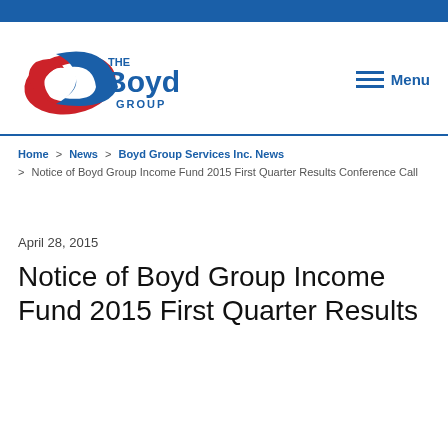[Figure (logo): The Boyd Group logo with red and blue swoosh graphic and 'THE Boyd GROUP' text]
Menu
Home > News > Boyd Group Services Inc. News > Notice of Boyd Group Income Fund 2015 First Quarter Results Conference Call
April 28, 2015
Notice of Boyd Group Income Fund 2015 First Quarter Results